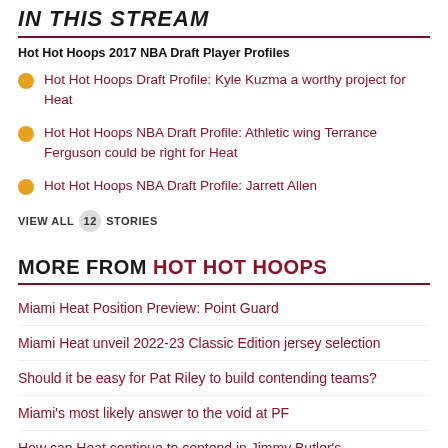IN THIS STREAM
Hot Hot Hoops 2017 NBA Draft Player Profiles
Hot Hot Hoops Draft Profile: Kyle Kuzma a worthy project for Heat
Hot Hot Hoops NBA Draft Profile: Athletic wing Terrance Ferguson could be right for Heat
Hot Hot Hoops NBA Draft Profile: Jarrett Allen
VIEW ALL 12 STORIES
MORE FROM HOT HOT HOOPS
Miami Heat Position Preview: Point Guard
Miami Heat unveil 2022-23 Classic Edition jersey selection
Should it be easy for Pat Riley to build contending teams?
Miami's most likely answer to the void at PF
How can Heat continue to contend in Jimmy Butler's